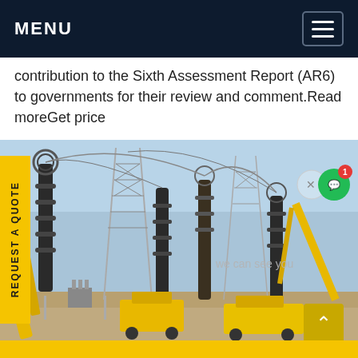MENU
contribution to the Sixth Assessment Report (AR6) to governments for their review and comment.Read moreGet price
[Figure (photo): Industrial electrical substation construction site with cranes, transmission towers, and utility vehicles under a blue sky]
REQUEST A QUOTE
we can see you